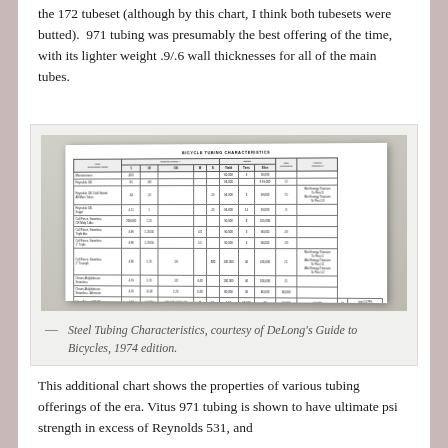the 172 tubeset (although by this chart, I think both tubesets were butted).  971 tubing was presumably the best offering of the time, with its lighter weight .9/.6 wall thicknesses for all of the main tubes.
[Figure (table-as-image): A photograph of a printed table titled 'BICYCLE TUBING CHARACTERISTICS' showing steel tubing specifications from DeLong's Guide to Bicycles, 1974 edition.]
Steel Tubing Characteristics, courtesy of DeLong's Guide to Bicycles, 1974 edition.
This additional chart shows the properties of various tubing offerings of the era. Vitus 971 tubing is shown to have ultimate psi strength in excess of Reynolds 531, and